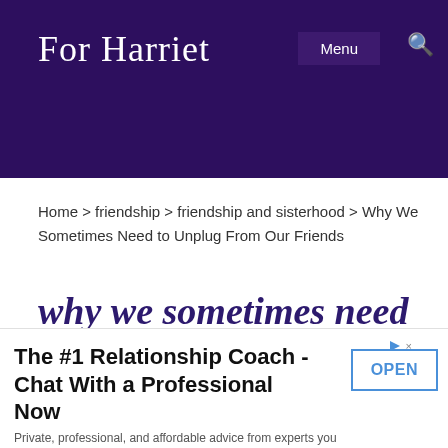For Harriet
Home > friendship > friendship and sisterhood > Why We Sometimes Need to Unplug From Our Friends
why we sometimes need to unplug from our friends
The #1 Relationship Coach - Chat With a Professional Now
Private, professional, and affordable advice from experts you can use today. relationshiphero.com/coaching